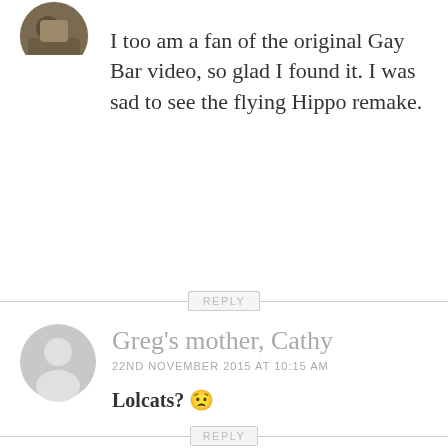[Figure (photo): Circular avatar photo of a person, partially visible at top of page]
I too am a fan of the original Gay Bar video, so glad I found it. I was sad to see the flying Hippo remake.
REPLY
[Figure (illustration): Generic grey circular user avatar with silhouette person icon]
Greg's mother, Cathy
22ND NOVEMBER 2015 AT 10:15 AM
Lolcats? 😕
REPLY
Watch: This New Year's Eve, give in to the